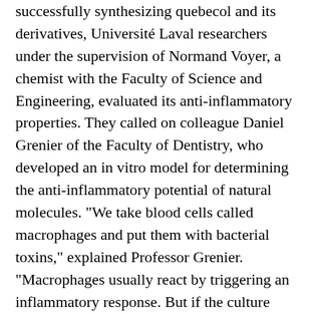successfully synthesizing quebecol and its derivatives, Université Laval researchers under the supervision of Normand Voyer, a chemist with the Faculty of Science and Engineering, evaluated its anti-inflammatory properties. They called on colleague Daniel Grenier of the Faculty of Dentistry, who developed an in vitro model for determining the anti-inflammatory potential of natural molecules. "We take blood cells called macrophages and put them with bacterial toxins," explained Professor Grenier. "Macrophages usually react by triggering an inflammatory response. But if the culture medium contains an anti-inflammatory molecule, this response is blocked."
The researchers carried out tests that showed quebecol curbs the inflammatory response of macrophages, and some derivatives are even more effective than the original molecule. "The most powerful derivative has a simpler structure and is easier to synthesize than quebecol," said Normand Voyer. "This paves the way for a whole new class